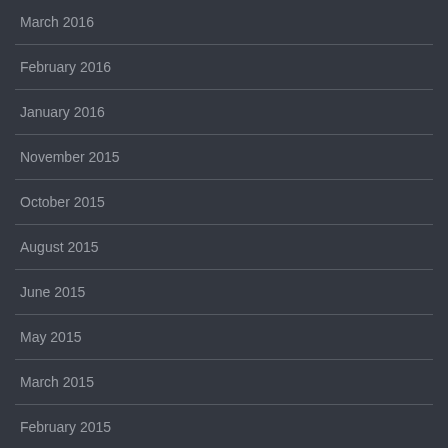March 2016
February 2016
January 2016
November 2015
October 2015
August 2015
June 2015
May 2015
March 2015
February 2015
January 2015
December 2014